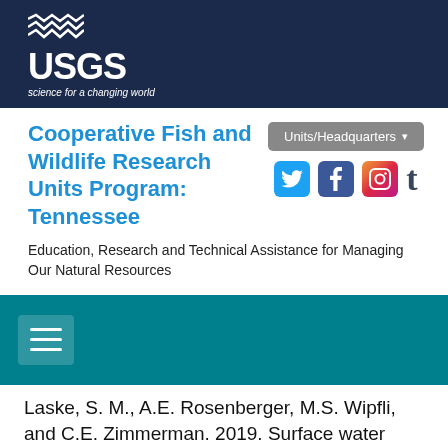[Figure (logo): USGS logo with waves icon, text 'USGS' and tagline 'science for a changing world' on dark navy background]
Cooperative Fish and Wildlife Research Units Program: Tennessee
[Figure (screenshot): Units/Headquarters dropdown button and social media icons: Twitter, Facebook, Instagram, Tumblr]
Education, Research and Technical Assistance for Managing Our Natural Resources
[Figure (other): Teal navigation bar with hamburger menu icon]
Laske, S. M., A.E. Rosenberger, M.S. Wipfli, and C.E. Zimmerman. 2019. Surface water connectivity controls fish food web structure